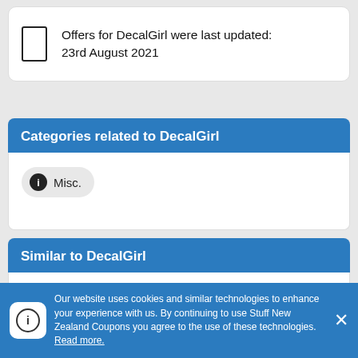Offers for DecalGirl were last updated: 23rd August 2021
Categories related to DecalGirl
Misc.
Similar to DecalGirl
Magic World
10 offers available
Our website uses cookies and similar technologies to enhance your experience with us. By continuing to use Stuff New Zealand Coupons you agree to the use of these technologies. Read more.